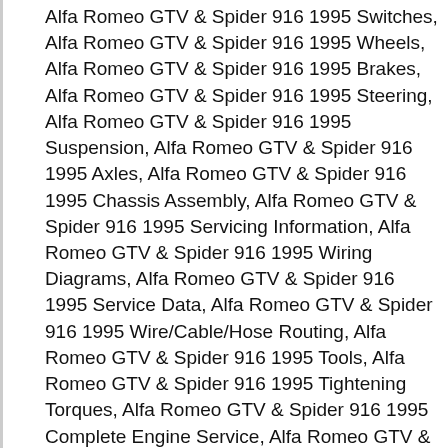Alfa Romeo GTV & Spider 916 1995 Switches, Alfa Romeo GTV & Spider 916 1995 Wheels, Alfa Romeo GTV & Spider 916 1995 Brakes, Alfa Romeo GTV & Spider 916 1995 Steering, Alfa Romeo GTV & Spider 916 1995 Suspension, Alfa Romeo GTV & Spider 916 1995 Axles, Alfa Romeo GTV & Spider 916 1995 Chassis Assembly, Alfa Romeo GTV & Spider 916 1995 Servicing Information, Alfa Romeo GTV & Spider 916 1995 Wiring Diagrams, Alfa Romeo GTV & Spider 916 1995 Service Data, Alfa Romeo GTV & Spider 916 1995 Wire/Cable/Hose Routing, Alfa Romeo GTV & Spider 916 1995 Tools, Alfa Romeo GTV & Spider 916 1995 Tightening Torques, Alfa Romeo GTV & Spider 916 1995 Complete Engine Service, Alfa Romeo GTV & Spider 916 1995 Fuel System Service, Alfa Romeo GTV & Spider 916 1995 All Factory Repair Procedures, Alfa Romeo GTV & Spider 916 1995 Gearbox, Alfa Romeo GTV & Spider 916 1995 Exhaust System,